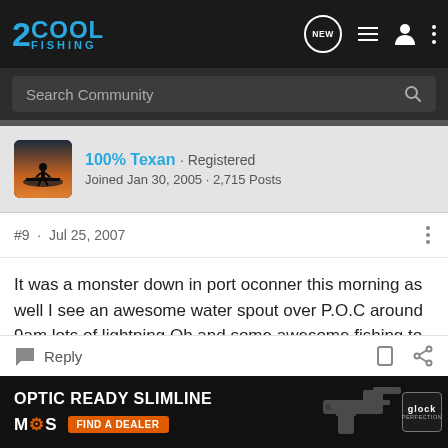2COOL FISHING
Search Community
100% Texan · Registered
Joined Jan 30, 2005 · 2,715 Posts
#9 · Jul 25, 2007
It was a monster down in port oconner this morning as well I see an awesome water spout over P.O.C around 9am lots of lightning.Oh and some awesome fishing to boot.
Reply
[Figure (screenshot): Advertisement banner for OPTIC READY SLIMLINE by MOS with a Glock handgun image and FIND A DEALER button]